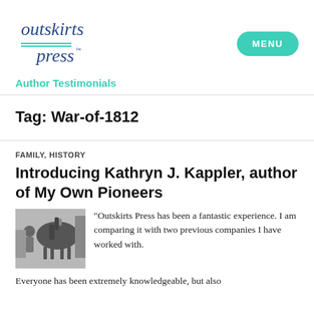[Figure (logo): Outskirts Press logo in blue serif font with teal horizontal lines]
MENU
Author Testimonials
Tag: War-of-1812
FAMILY, HISTORY
Introducing Kathryn J. Kappler, author of My Own Pioneers
[Figure (photo): Black and white photo of a person with a horse]
“Outskirts Press has been a fantastic experience. I am comparing it with two previous companies I have worked with. Everyone has been extremely knowledgeable, but also